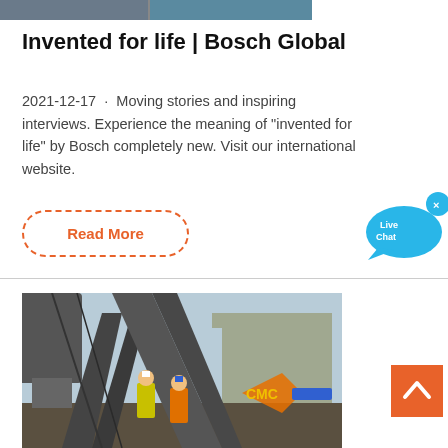[Figure (photo): Partial top image strip showing industrial/people scene, cropped at top of page]
Invented for life | Bosch Global
2021-12-17 · Moving stories and inspiring interviews. Experience the meaning of "invented for life" by Bosch completely new. Visit our international website.
Read More
[Figure (illustration): Live Chat speech bubble icon in blue with 'Live Chat' text and an X close button]
[Figure (photo): Industrial construction site with workers in high-visibility vests and hard hats working on heavy machinery and conveyor belts. CMC logo visible on orange/yellow machinery.]
[Figure (illustration): Orange back-to-top button with white upward chevron arrow]